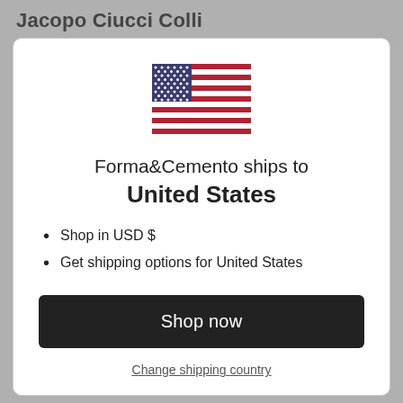Jacopo Ciucci Colli
[Figure (illustration): US flag icon]
Forma&Cemento ships to United States
Shop in USD $
Get shipping options for United States
Shop now
Change shipping country